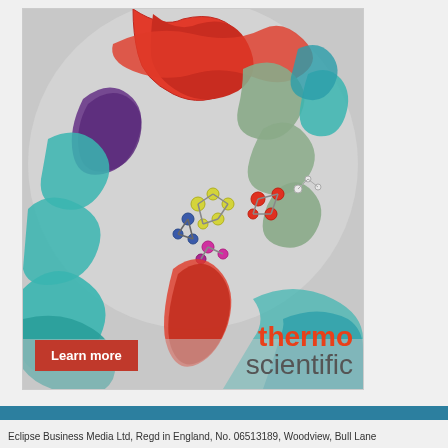[Figure (illustration): Thermo Scientific advertisement featuring a 3D molecular/protein structure visualization with colorful ribbon diagrams (red, teal, purple, grey) and ball-and-stick molecule models on a grey sphere background. Includes 'thermo scientific' branding and a red 'Learn more' button.]
Eclipse Business Media Ltd, Regd in England, No. 06513189, Woodview, Bull Lane